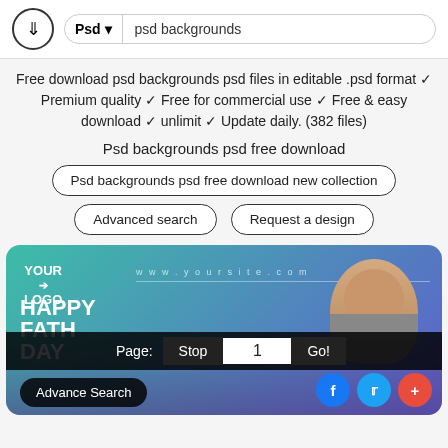Psd | psd backgrounds
Free download psd backgrounds psd files in editable .psd format ✓ Premium quality ✓ Free for commercial use ✓ Free & easy download ✓ unlimit ✓ Update daily. (382 files)
Psd backgrounds psd free download
Psd backgrounds psd free download new collection
Advanced search   Request a design
[Figure (screenshot): Preview of a Father's Day PSD template with teal/purple gradient background, a smiling baby photo, bold white text 'HAPPY FATHER'S DAY', a page navigation overlay bar, advance search button, and social media icons.]